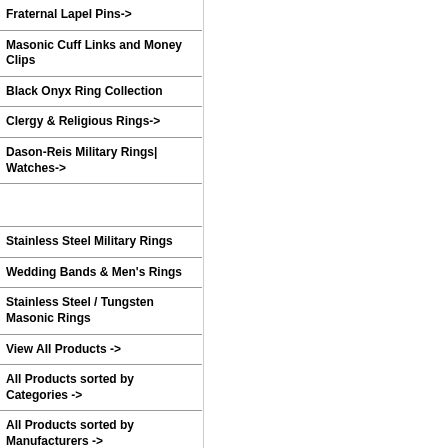Fraternal Lapel Pins->
Masonic Cuff Links and Money Clips
Black Onyx Ring Collection
Clergy & Religious Rings->
Dason-Reis Military Rings| Watches->
Stainless Steel Military Rings
Wedding Bands & Men's Rings
Stainless Steel / Tungsten Masonic Rings
View All Products ->
All Products sorted by Categories ->
All Products sorted by Manufacturers ->
Shop by Price
Under $200.00